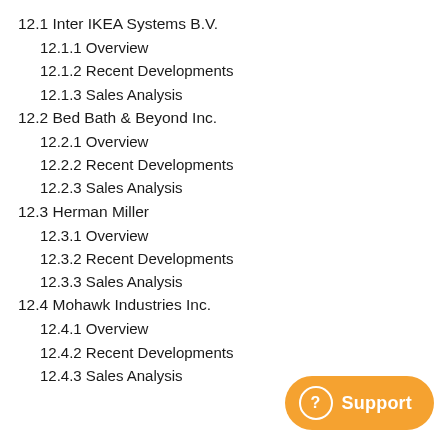12.1 Inter IKEA Systems B.V.
12.1.1 Overview
12.1.2 Recent Developments
12.1.3 Sales Analysis
12.2 Bed Bath & Beyond Inc.
12.2.1 Overview
12.2.2 Recent Developments
12.2.3 Sales Analysis
12.3 Herman Miller
12.3.1 Overview
12.3.2 Recent Developments
12.3.3 Sales Analysis
12.4 Mohawk Industries Inc.
12.4.1 Overview
12.4.2 Recent Developments
12.4.3 Sales Analysis